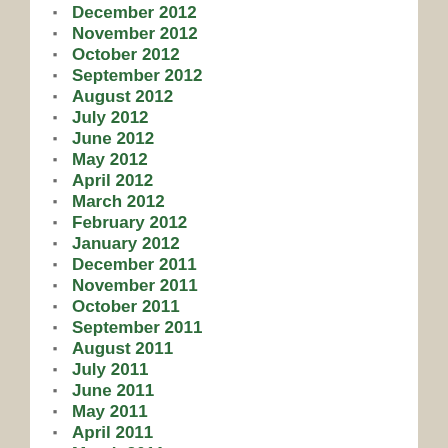December 2012
November 2012
October 2012
September 2012
August 2012
July 2012
June 2012
May 2012
April 2012
March 2012
February 2012
January 2012
December 2011
November 2011
October 2011
September 2011
August 2011
July 2011
June 2011
May 2011
April 2011
March 2011